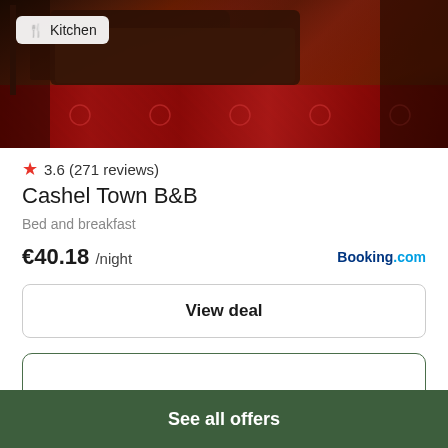[Figure (photo): Interior photo of a room with a leather sofa/couch and a detailed red patterned rug/carpet. A Kitchen badge with fork and knife icon is overlaid in the top-left of the image.]
3.6 (271 reviews)
Cashel Town B&B
Bed and breakfast
€40.18 /night
Booking.com
View deal
[Figure (other): A card/box with a dark green border containing a cutlery icon (fork and knife) near the bottom center.]
See all offers